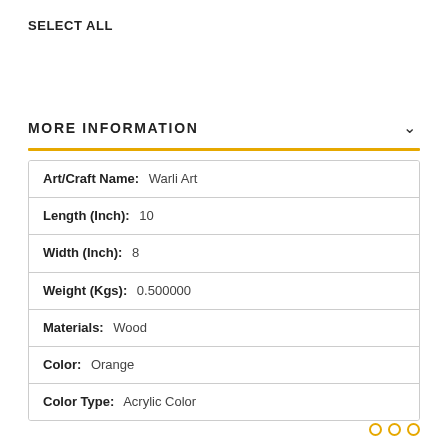SELECT ALL
MORE INFORMATION
| Art/Craft Name: | Warli Art |
| Length (Inch): | 10 |
| Width (Inch): | 8 |
| Weight (Kgs): | 0.500000 |
| Materials: | Wood |
| Color: | Orange |
| Color Type: | Acrylic Color |